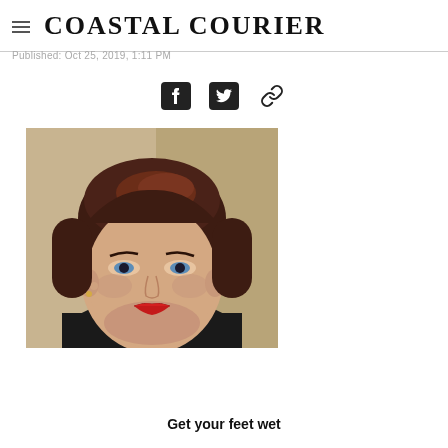Coastal Courier
Published: Oct 25, 2019, 1:11 PM
[Figure (illustration): Social sharing icons: Facebook, Twitter, and link/copy icons]
[Figure (photo): Portrait photo of a woman with short reddish-brown hair, blue eyes, wearing a black turtleneck, with red lipstick, against a tan/beige background]
Get your feet wet